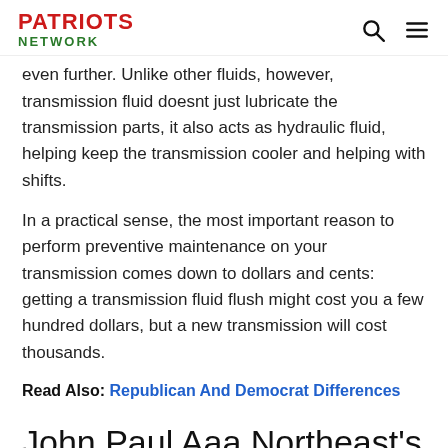PATRIOTS NETWORK
even further. Unlike other fluids, however, transmission fluid doesnt just lubricate the transmission parts, it also acts as hydraulic fluid, helping keep the transmission cooler and helping with shifts.
In a practical sense, the most important reason to perform preventive maintenance on your transmission comes down to dollars and cents: getting a transmission fluid flush might cost you a few hundred dollars, but a new transmission will cost thousands.
Read Also: Republican And Democrat Differences
John Paul Aaa Northeast's Car Doctor Answers A Question From